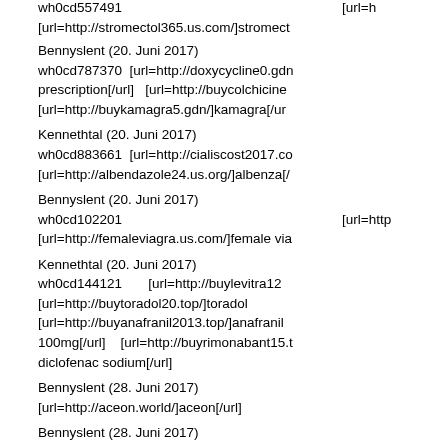wh0cd557491    [url=h [url=http://stromectol365.us.com/]stromect
Bennyslent (20. Juni 2017) wh0cd787370 [url=http://doxycycline0.gdn prescription[/url] [url=http://buycolchicine [url=http://buykamagra5.gdn/]kamagra[/ur
Kennethtal (20. Juni 2017) wh0cd883661 [url=http://cialiscost2017.co [url=http://albendazole24.us.org/]albenza[/
Bennyslent (20. Juni 2017) wh0cd102201 [url=http [url=http://femaleviagra.us.com/]female via
Kennethtal (20. Juni 2017) wh0cd144121 [url=http://buylevitra12 [url=http://buytoradol20.top/]toradol [url=http://buyanafranil2013.top/]anafranil 100mg[/url] [url=http://buyrimonabant15.t diclofenac sodium[/url]
Bennyslent (28. Juni 2017) [url=http://aceon.world/]aceon[/url]
Bennyslent (28. Juni 2017) [url=http://aceon.world/]generic aceon[/url]
AlfredphorT (10. Juli 2017) wh0cd65460 [url= [url=http://methotrexate.us.com/]methotrex [url=http://toradol15mg.us.com/]Buy Torad RX[/url]